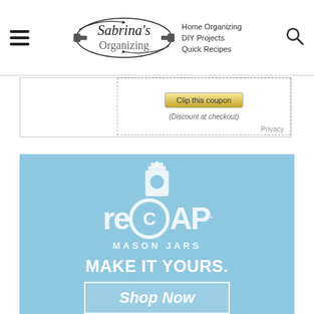Sabrina's Organizing — Home Organizing, DIY Projects, Quick Recipes
[Figure (screenshot): Coupon clip section with 'Clip this coupon' button and '(Discount at checkout)' text, with Privacy link]
[Figure (advertisement): reCAP Mason Jars advertisement on light blue background with text 'MAKE IT YOURS.' and 'Shop Now' button]